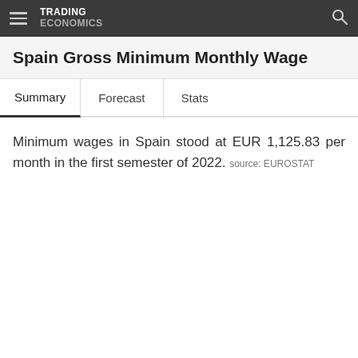TRADING ECONOMICS
Spain Gross Minimum Monthly Wage
Summary
Forecast
Stats
Minimum wages in Spain stood at EUR 1,125.83 per month in the first semester of 2022. source: EUROSTAT